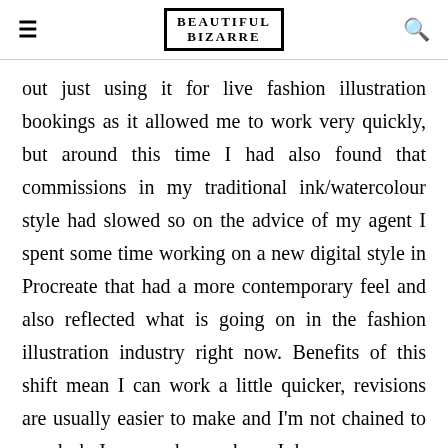BEAUTIFUL BIZARRE
out just using it for live fashion illustration bookings as it allowed me to work very quickly, but around this time I had also found that commissions in my traditional ink/watercolour style had slowed so on the advice of my agent I spent some time working on a new digital style in Procreate that had a more contemporary feel and also reflected what is going on in the fashion illustration industry right now. Benefits of this shift mean I can work a little quicker, revisions are usually easier to make and I'm not chained to my desk, I can work anywhere. I do